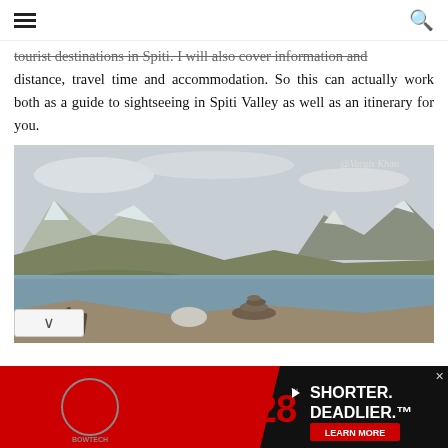☰  🔍
tourist destinations in Spiti. I will also cover information and distance, travel time and accommodation. So this can actually work both as a guide to sightseeing in Spiti Valley as well as an itinerary for you.
[Figure (photo): Mountain lake landscape in Spiti Valley with snow-capped peaks in background, a cairn of balanced rocks in the water foreground, green grass on banks. Photo credit: @Vargis Khan]
[Figure (photo): Advertisement banner for Bowtech CP28 crossbow — SHORTER. DEADLIER. LEARN MORE]